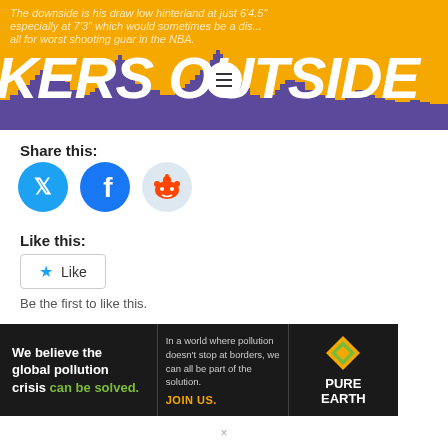[Figure (screenshot): Lakers Outside blog header banner with gold/yellow background, purple city skyline silhouette, large italic white text reading 'KERS OUTSIDE' across the banner, small italic text above, and a white hamburger menu circle in the center]
Share this:
[Figure (infographic): Three social sharing icon circles: Twitter (blue), Facebook (blue), Reddit (light blue)]
Like this:
[Figure (infographic): Like button with star icon]
Be the first to like this.
POSTED IN UNCATEGORIZED • TAGGED 2017 NBA DRAFT DILLON
[Figure (infographic): Pure Earth advertisement banner: dark background with text 'We believe the global pollution crisis can be solved.' and 'In a world where pollution doesn't stop at borders, we can all be part of the solution. JOIN US.' with Pure Earth logo (diamond shape with layers) and PURE EARTH text]